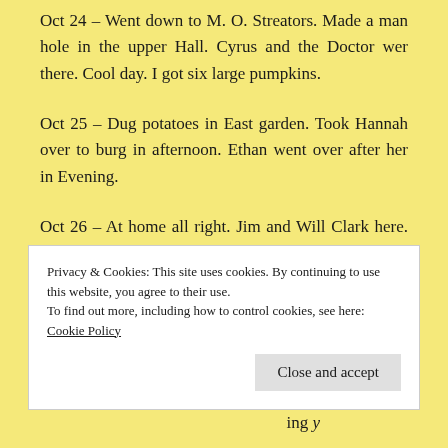Oct 24 – Went down to M. O. Streators. Made a man hole in the upper Hall. Cyrus and the Doctor wer there. Cool day. I got six large pumpkins.
Oct 25 – Dug potatoes in East garden. Took Hannah over to burg in afternoon. Ethan went over after her in Evening.
Oct 26 – At home all right. Jim and Will Clark here. Ethan went down to Alvin Lees.
Privacy & Cookies: This site uses cookies. By continuing to use this website, you agree to their use.
To find out more, including how to control cookies, see here: Cookie Policy
Close and accept